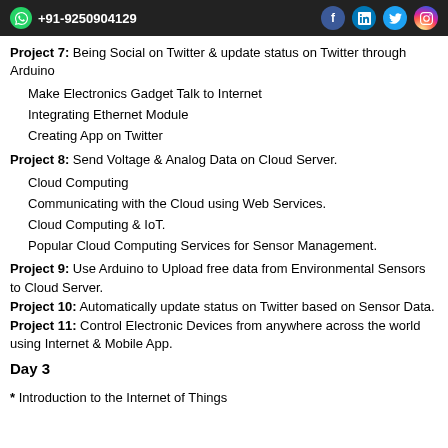+91-9250904129
Project 7: Being Social on Twitter & update status on Twitter through Arduino
Make Electronics Gadget Talk to Internet
Integrating Ethernet Module
Creating App on Twitter
Project 8: Send Voltage & Analog Data on Cloud Server.
Cloud Computing
Communicating with the Cloud using Web Services.
Cloud Computing & IoT.
Popular Cloud Computing Services for Sensor Management.
Project 9: Use Arduino to Upload free data from Environmental Sensors to Cloud Server.
Project 10: Automatically update status on Twitter based on Sensor Data.
Project 11: Control Electronic Devices from anywhere across the world using Internet & Mobile App.
Day 3
* Introduction to the Internet of Things